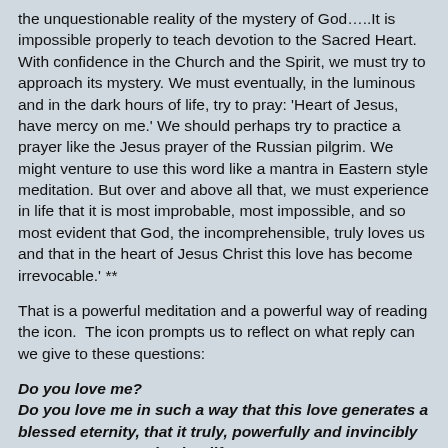the unquestionable reality of the mystery of God…..It is impossible properly to teach devotion to the Sacred Heart. With confidence in the Church and the Spirit, we must try to approach its mystery. We must eventually, in the luminous and in the dark hours of life, try to pray: 'Heart of Jesus, have mercy on me.' We should perhaps try to practice a prayer like the Jesus prayer of the Russian pilgrim. We might venture to use this word like a mantra in Eastern style meditation. But over and above all that, we must experience in life that it is most improbable, most impossible, and so most evident that God, the incomprehensible, truly loves us and that in the heart of Jesus Christ this love has become irrevocable.' **
That is a powerful meditation and a powerful way of reading the icon.  The icon prompts us to reflect on what reply can we give to these questions:
Do you love me?
Do you love me in such a way that this love generates a blessed eternity, that it truly, powerfully and invincibly generates my everlasting life?